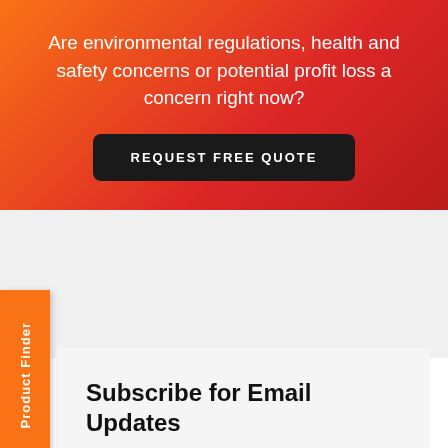Are environmental regulations, health and safety concerns or potential profit loss a concern right now?
REQUEST FREE QUOTE
Product Finder
Subscribe for Email Updates
To get more news and updates like this directly to your inbox, subscribe to our monthly newsletter.